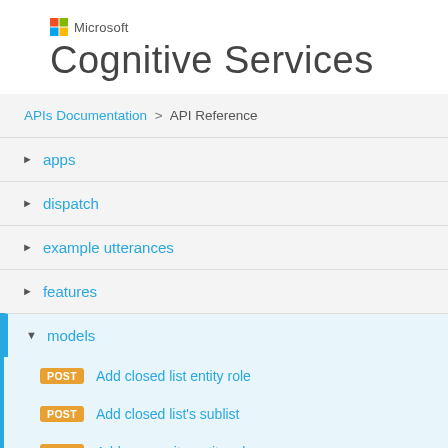[Figure (logo): Microsoft logo (4-color Windows squares) with 'Microsoft' text beside it, followed by 'Cognitive Services' title]
Cognitive Services
APIs Documentation > API Reference
► apps
► dispatch
► example utterances
► features
▼ models
POST Add closed list entity role
POST Add closed list's sublist
POST Add composite entity role